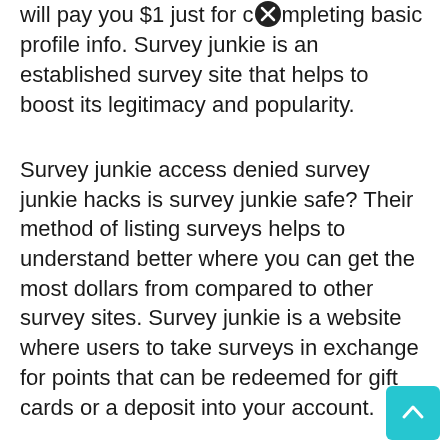will pay you $1 just for completing basic profile info. Survey junkie is an established survey site that helps to boost its legitimacy and popularity.
Survey junkie access denied survey junkie hacks is survey junkie safe? Their method of listing surveys helps to understand better where you can get the most dollars from compared to other survey sites. Survey junkie is a website where users to take surveys in exchange for points that can be redeemed for gift cards or a deposit into your account.
Survey junkie is an online survey platform that pays users for sharing their opinions. With this app, you will gain access to the survey junkie network and you will gain points for each survey completed, which you can then redeem these points for real money. Survey junkie is another website that pays you for your opinions.